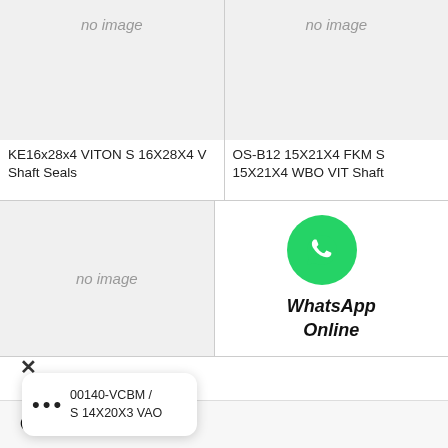[Figure (other): Product placeholder image with 'no image' text, top-left card]
[Figure (other): Product placeholder image with 'no image' text, top-right card]
KE16x28x4 VITON S 16X28X4 V Shaft Seals
OS-B12 15X21X4 FKM S 15X21X4 WBO VIT Shaft
[Figure (other): Product placeholder image with 'no image' text, bottom-left card]
[Figure (logo): WhatsApp green circle logo with phone handset icon and 'WhatsApp Online' label]
×
••• 00140-VCBM / S 14X20X3 VAO
Chat now